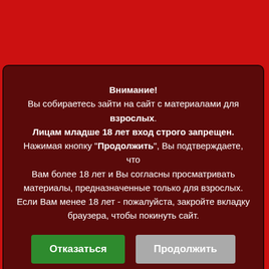[Figure (screenshot): Age verification modal dialog on a red background. Dark red/maroon modal box with Russian text warning about adult content, with two buttons: green 'Отказаться' (Decline) and gray 'Продолжить' (Continue).]
Внимание! Вы собираетесь зайти на сайт с материалами для взрослых. Лицам младше 18 лет вход строго запрещен. Нажимая кнопку "Продолжить", Вы подтверждаете, что Вам более 18 лет и Вы согласны просматривать материалы, предназначенные только для взрослых. Если Вам менее 18 лет - пожалуйста, закройте вкладку браузера, чтобы покинуть сайт.